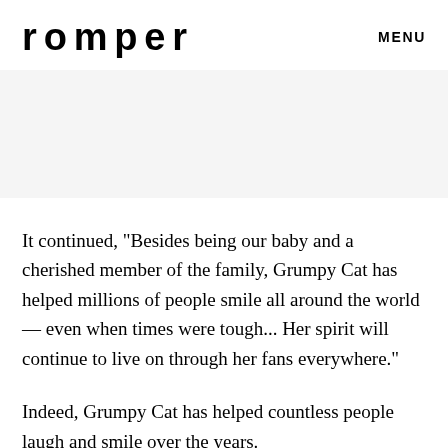romper   MENU
[Figure (other): Gray band placeholder image area]
It continued, "Besides being our baby and a cherished member of the family, Grumpy Cat has helped millions of people smile all around the world — even when times were tough... Her spirit will continue to live on through her fans everywhere."
Indeed, Grumpy Cat has helped countless people laugh and smile over the years.